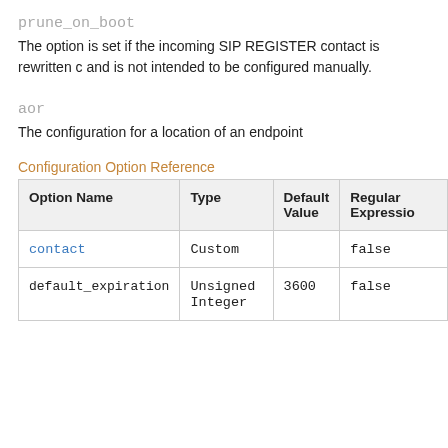prune_on_boot
The option is set if the incoming SIP REGISTER contact is rewritten c and is not intended to be configured manually.
aor
The configuration for a location of an endpoint
Configuration Option Reference
| Option Name | Type | Default Value | Regular Expression |
| --- | --- | --- | --- |
| contact | Custom |  | false |
| default_expiration | Unsigned Integer | 3600 | false |